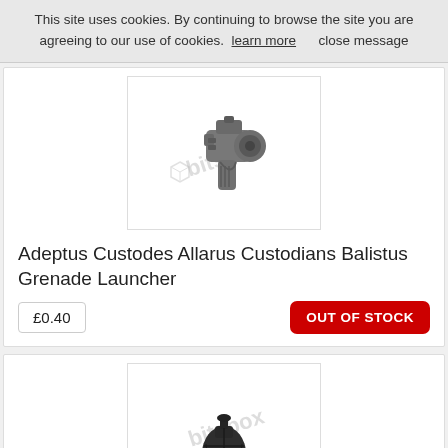This site uses cookies. By continuing to browse the site you are agreeing to our use of cookies.  learn more      close message
[Figure (photo): A grey plastic Balistus Grenade Launcher model piece on white background with bitsbox watermark]
Adeptus Custodes Allarus Custodians Balistus Grenade Launcher
£0.40
OUT OF STOCK
[Figure (photo): A dark grey/black grenade model piece on white background with bitsbox watermark]